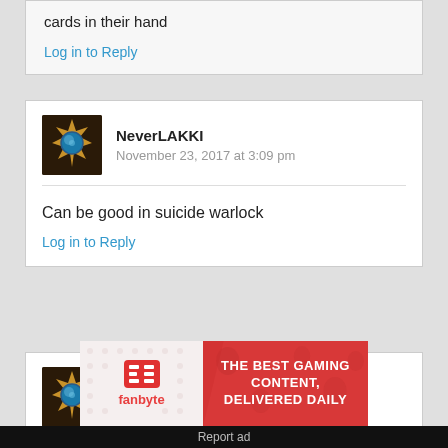cards in their hand
Log in to Reply
NeverLAKKI
November 23, 2017 at 3:09 pm
Can be good in suicide warlock
Log in to Reply
Haxhard
November 23, 2017 at 2:58 pm
[Figure (infographic): Fanbyte ad banner: THE BEST GAMING CONTENT, DELIVERED DAILY]
Report ad